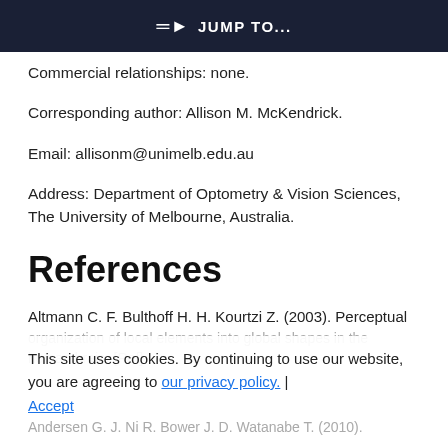JUMP TO...
Commercial relationships: none.
Corresponding author: Allison M. McKendrick.
Email: allisonm@unimelb.edu.au
Address: Department of Optometry & Vision Sciences, The University of Melbourne, Australia.
References
Altmann C. F. Bulthoff H. H. Kourtzi Z. (2003). Perceptual organization of local elements into global shapes in the human brain. [Ref]
This site uses cookies. By continuing to use our website, you are agreeing to our privacy policy. | Accept
Andersen G. J. Ni R. Bower J. D. Watanabe T. (2010).